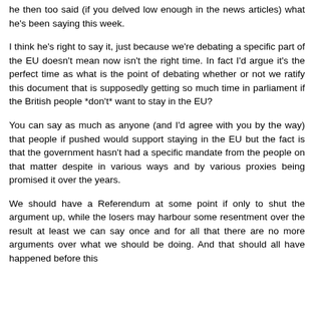he then too said (if you delved low enough in the news articles) what he's been saying this week.
I think he's right to say it, just because we're debating a specific part of the EU doesn't mean now isn't the right time. In fact I'd argue it's the perfect time as what is the point of debating whether or not we ratify this document that is supposedly getting so much time in parliament if the British people *don't* want to stay in the EU?
You can say as much as anyone (and I'd agree with you by the way) that people if pushed would support staying in the EU but the fact is that the government hasn't had a specific mandate from the people on that matter despite in various ways and by various proxies being promised it over the years.
We should have a Referendum at some point if only to shut the argument up, while the losers may harbour some resentment over the result at least we can say once and for all that there are no more arguments over what we should be doing. And that should all have happened before this